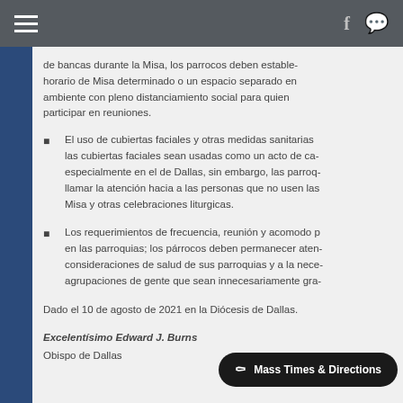Navigation bar with hamburger menu and social icons
de bancas durante la Misa, los parrocos deben estable- horario de Misa determinado o un espacio separado en ambiente con pleno distanciamiento social para quien participar en reuniones.
El uso de cubiertas faciales y otras medidas sanitarias las cubiertas faciales sean usadas como un acto de ca- especialmente en el de Dallas, sin embargo, las parroq- llamar la atención hacia a las personas que no usen las Misa y otras celebraciones liturgicas.
Los requerimientos de frecuencia, reunión y acomodo p en las parroquias; los párrocos deben permanecer aten- consideraciones de salud de sus parroquias y a la nece- agrupaciones de gente que sean innecesariamente gra-
Dado el 10 de agosto de 2021 en la Diócesis de Dallas.
Excelentísimo Edward J. Burns
Obispo de Dallas